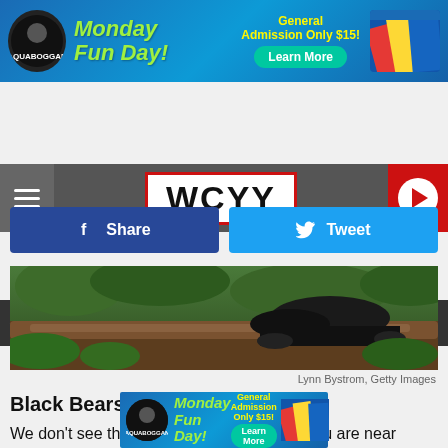[Figure (screenshot): Top advertisement banner for a water park: Monday Fun Day! General Admission Only $15! Learn More button, with logo and slide imagery]
[Figure (screenshot): WCYY radio station header bar with hamburger menu, WCYY logo in red-bordered box, and red play button circle]
[Figure (screenshot): Listen Now button with play triangle and text TOUCHER AND RICH on dark bar]
[Figure (screenshot): Facebook Share and Twitter Tweet social sharing buttons]
[Figure (photo): Close-up photo of black bear among foliage and logs]
Lynn Bystrom, Getty Images
Black Bears
We don't see these guys too often unless you are near UMaine or in the Northern part of the state, but as our bird feeders and gardens can demonstrate a black bear will stop
[Figure (screenshot): Bottom advertisement banner for a water park: Monday Fun Day! General Admission Only $15! Learn More button, with logo and slide imagery]